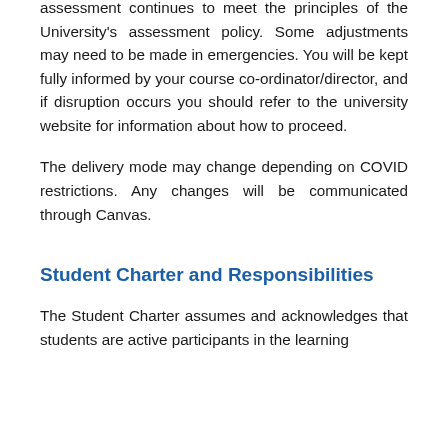assessment continues to meet the principles of the University's assessment policy. Some adjustments may need to be made in emergencies. You will be kept fully informed by your course co-ordinator/director, and if disruption occurs you should refer to the university website for information about how to proceed.
The delivery mode may change depending on COVID restrictions. Any changes will be communicated through Canvas.
Student Charter and Responsibilities
The Student Charter assumes and acknowledges that students are active participants in the learning